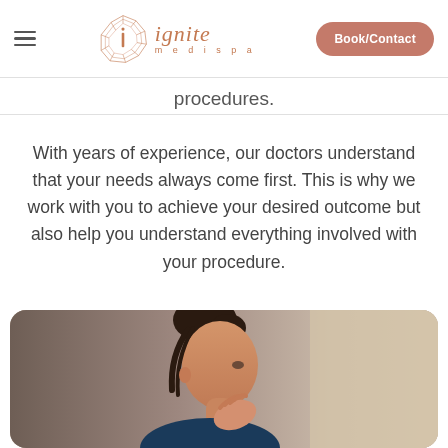ignite medispa — Book/Contact
procedures.
With years of experience, our doctors understand that your needs always come first. This is why we work with you to achieve your desired outcome but also help you understand everything involved with your procedure.
[Figure (photo): Woman with hair up in bun touching her neck/ear area, side profile, looking in mirror, wearing blue top, natural lighting with neutral background]